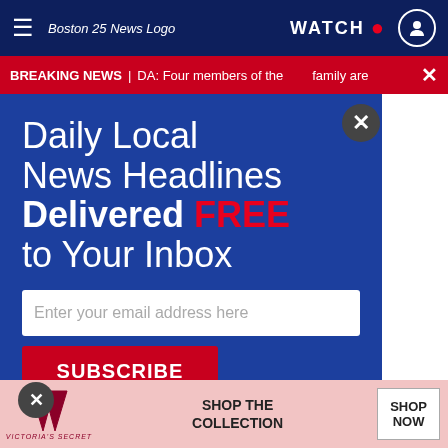≡  Boston 25 News Logo   WATCH ● 👤
BREAKING NEWS | DA: Four members of the __ family are
is the current
ng possible to
[Figure (screenshot): Email newsletter subscription popup modal for Boston 25 News with blue background. Headline: 'Daily Local News Headlines Delivered FREE to Your Inbox'. Email input field: 'Enter your email address here'. Subscribe button in red. Boston 25 NEWS logo at bottom.]
muters, some
he positives of
up and
te.
"I come from Texas and Wisconsin where public transportation is not that big of a thing," said Prova Nelson,
[Figure (screenshot): Victoria's Secret advertisement banner at bottom of page. Pink background with Victoria's Secret logo. Text: SHOP THE COLLECTION. Button: SHOP NOW.]